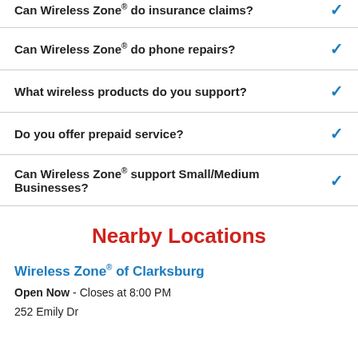Can Wireless Zone® do insurance claims?
Can Wireless Zone® do phone repairs?
What wireless products do you support?
Do you offer prepaid service?
Can Wireless Zone® support Small/Medium Businesses?
Nearby Locations
Wireless Zone® of Clarksburg
Open Now - Closes at 8:00 PM
252 Emily Dr